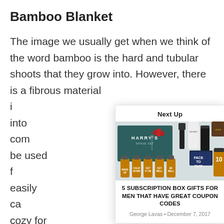Bamboo Blanket
The image we usually get when we think of the word bamboo is the hard and tubular shoots that they grow into. However, there is a fibrous material i... into com... be used f... easily ca... cozy for r... to huma... eco-frien... are easy t...
[Figure (photo): Next Up popup card showing Harry's shave set products with subscription box bottles labeled Wake Up, Calm Down, Get It On, Get Well, Be Well, and grooming products including Face To Face 10, with an image of the products arranged on a flat lay background.]
5 SUBSCRIPTION BOX GIFTS FOR MEN THAT HAVE GREAT COUPON CODES
George Lavas • December 7, 2017
Natural L